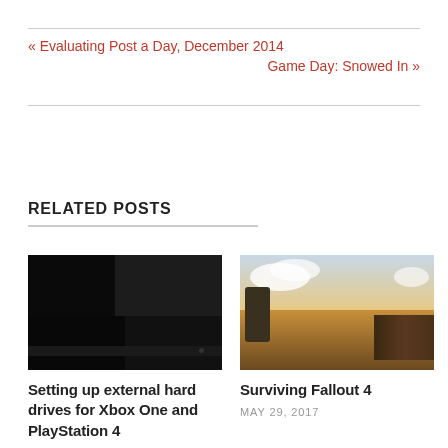« Evaluating Post a Day, December 2014
Game Day: Snowed In »
RELATED POSTS
[Figure (photo): Dark image of Xbox One console showing its black casing with ventilation grid pattern]
[Figure (photo): Fallout 4 game screenshot showing a post-apocalyptic landscape with dramatic sky and a character with a mechanical sculpture in the foreground]
Setting up external hard drives for Xbox One and PlayStation 4
Surviving Fallout 4
MAY 29, 2017